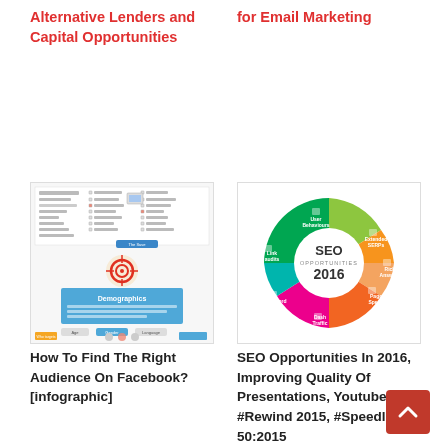Alternative Lenders and Capital Opportunities
for Email Marketing
[Figure (infographic): Infographic showing how to find the right audience on Facebook with demographics and targeting options]
[Figure (pie-chart): SEO Opportunities In 2016 donut/pie chart with segments: User Behaviours, Extended SERPs, Rich Answers, Page Speed, Dash Traffic, Keyword Groups, Link Audits]
How To Find The Right Audience On Facebook? [infographic]
SEO Opportunities In 2016, Improving Quality Of Presentations, Youtube #Rewind 2015, #Speedlink 50:2015